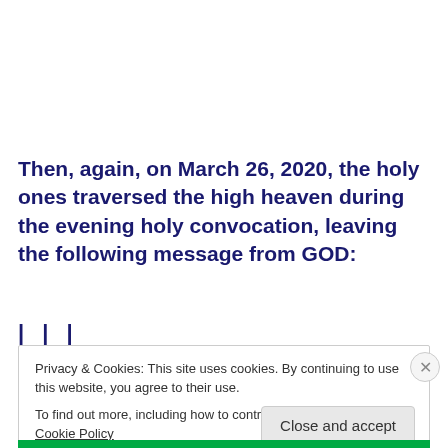Then, again, on March 26, 2020, the holy ones traversed the high heaven during the evening holy convocation, leaving the following message from GOD:
| | |
Privacy & Cookies: This site uses cookies. By continuing to use this website, you agree to their use.
To find out more, including how to control cookies, see here: Cookie Policy
Close and accept